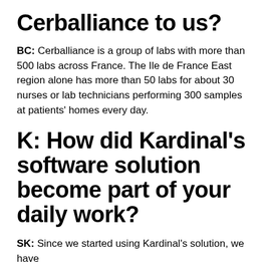Cerballiance to us?
BC: Cerballiance is a group of labs with more than 500 labs across France. The Ile de France East region alone has more than 50 labs for about 30 nurses or lab technicians performing 300 samples at patients' homes every day.
K: How did Kardinal's software solution become part of your daily work?
SK: Since we started using Kardinal's solution, we have